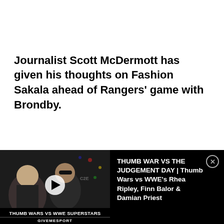Journalist Scott McDermott has given his thoughts on Fashion Sakala ahead of Rangers' game with Brondby.
[Figure (screenshot): Video player thumbnail showing people at an event with text overlay 'THUMB WARS VS WWE SUPERSTARS' and 'GIVEMESPORT' branding, alongside video title text 'THUMB WAR VS THE JUDGEMENT DAY | Thumb Wars vs WWE's Rhea Ripley, Finn Balor & Damian Priest']